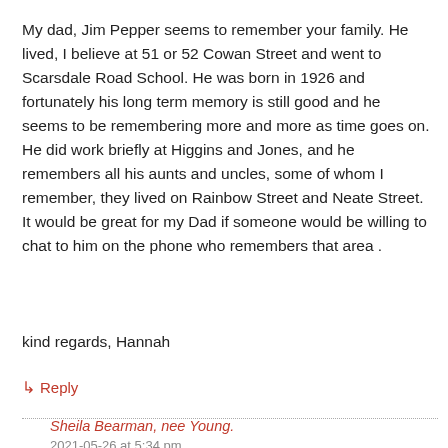My dad, Jim Pepper seems to remember your family. He lived, I believe at 51 or 52 Cowan Street and went to Scarsdale Road School. He was born in 1926 and fortunately his long term memory is still good and he seems to be remembering more and more as time goes on. He did work briefly at Higgins and Jones, and he remembers all his aunts and uncles, some of whom I remember, they lived on Rainbow Street and Neate Street.
It would be great for my Dad if someone would be willing to chat to him on the phone who remembers that area .
kind regards, Hannah
↳ Reply
Sheila Bearman, nee Young.
2021-05-26 at 5:34 pm